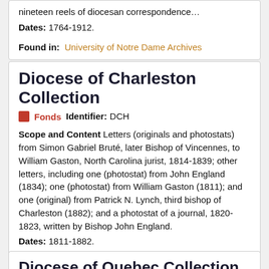nineteen reels of diocesan correspondence... Dates: 1764-1912.
Found in: University of Notre Dame Archives
Diocese of Charleston Collection
Fonds   Identifier: DCH
Scope and Content Letters (originals and photostats) from Simon Gabriel Bruté, later Bishop of Vincennes, to William Gaston, North Carolina jurist, 1814-1839; other letters, including one (photostat) from John England (1834); one (photostat) from William Gaston (1811); and one (original) from Patrick N. Lynch, third bishop of Charleston (1882); and a photostat of a journal, 1820-1823, written by Bishop John England. Dates: 1811-1882.
Found in: University of Notre Dame Archives
Diocese of Quebec Collection